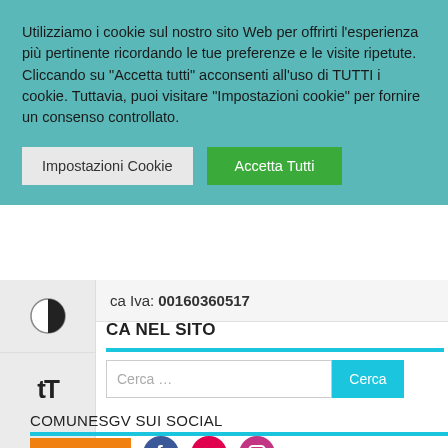Utilizziamo i cookie sul nostro sito Web per offrirti l'esperienza più pertinente ricordando le tue preferenze e le visite ripetute. Cliccando su "Accetta tutti" acconsenti all'uso di TUTTI i cookie. Tuttavia, puoi visitare "Impostazioni cookie" per fornire un consenso controllato.
Impostazioni Cookie | Accetta Tutti
ca Iva: 00160360517
CA NEL SITO
Cerca ...
COMUNESGV SUI SOCIAL
Translate »